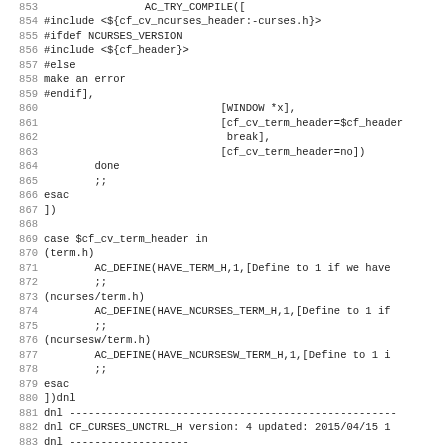Source code listing lines 853-885 showing shell/autoconf script code for ncurses header detection